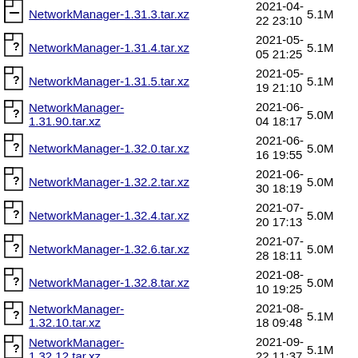NetworkManager-1.31.3.tar.xz  2021-04-22 23:10  5.1M
NetworkManager-1.31.4.tar.xz  2021-05-05 21:25  5.1M
NetworkManager-1.31.5.tar.xz  2021-05-19 21:10  5.1M
NetworkManager-1.31.90.tar.xz  2021-06-04 18:17  5.0M
NetworkManager-1.32.0.tar.xz  2021-06-16 19:55  5.0M
NetworkManager-1.32.2.tar.xz  2021-06-30 18:19  5.0M
NetworkManager-1.32.4.tar.xz  2021-07-20 17:13  5.0M
NetworkManager-1.32.6.tar.xz  2021-07-28 18:11  5.0M
NetworkManager-1.32.8.tar.xz  2021-08-10 19:25  5.0M
NetworkManager-1.32.10.tar.xz  2021-08-18 09:48  5.1M
NetworkManager-1.32.12.tar.xz  2021-09-22 11:37  5.1M
NetworkManager-1.33.0.tar.xz  2021-06-  5.0M